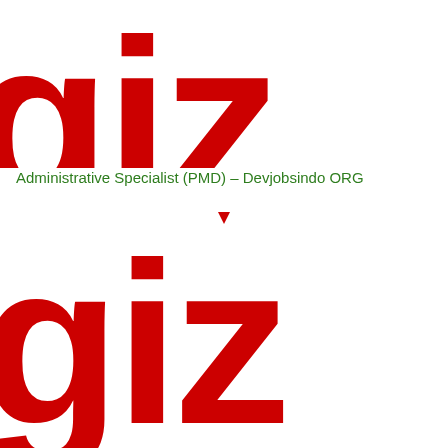[Figure (logo): GIZ logo in large red bold lowercase letters 'giz', top portion cropped showing partial letterforms]
Administrative Specialist (PMD) – Devjobsindo ORG
[Figure (logo): GIZ logo in large red bold lowercase letters 'giz', full letterforms visible with accent mark on 'i']